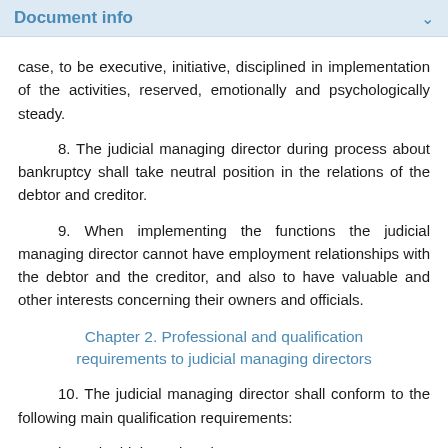Document info
case, to be executive, initiative, disciplined in implementation of the activities, reserved, emotionally and psychologically steady.
8. The judicial managing director during process about bankruptcy shall take neutral position in the relations of the debtor and creditor.
9. When implementing the functions the judicial managing director cannot have employment relationships with the debtor and the creditor, and also to have valuable and other interests concerning their owners and officials.
Chapter 2. Professional and qualification requirements to judicial managing directors
10. The judicial managing director shall conform to the following main qualification requirements:
have the higher education;